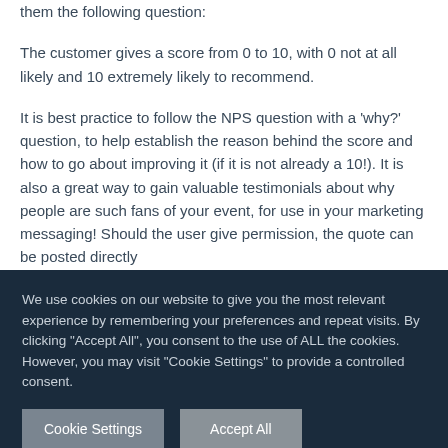them the following question:
The customer gives a score from 0 to 10, with 0 not at all likely and 10 extremely likely to recommend.
It is best practice to follow the NPS question with a ‘why?’ question, to help establish the reason behind the score and how to go about improving it (if it is not already a 10!). It is also a great way to gain valuable testimonials about why people are such fans of your event, for use in your marketing messaging! Should the user give permission, the quote can be posted directly
We use cookies on our website to give you the most relevant experience by remembering your preferences and repeat visits. By clicking “Accept All”, you consent to the use of ALL the cookies. However, you may visit “Cookie Settings” to provide a controlled consent.